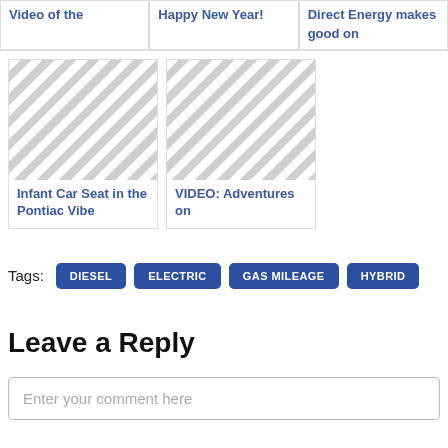Video of the
Happy New Year!
Direct Energy makes good on
[Figure (photo): Placeholder image with diagonal grey stripes]
Infant Car Seat in the Pontiac Vibe
[Figure (photo): Placeholder image with diagonal grey stripes]
VIDEO: Adventures on
Tags: DIESEL ELECTRIC GAS MILEAGE HYBRID
Leave a Reply
Enter your comment here